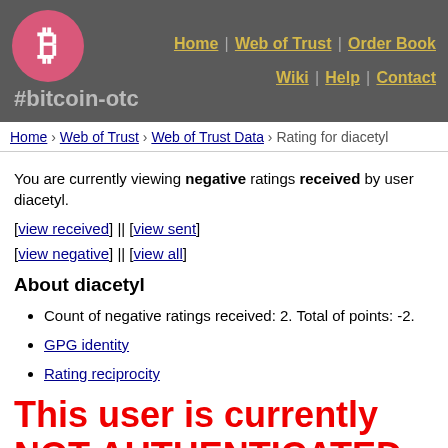#bitcoin-otc | Home | Web of Trust | Order Book | Wiki | Help | Contact
Home › Web of Trust › Web of Trust Data › Rating for diacetyl
You are currently viewing negative ratings received by user diacetyl.
[view received] || [view sent]
[view negative] || [view all]
About diacetyl
Count of negative ratings received: 2. Total of points: -2.
GPG identity
Rating reciprocity
This user is currently NOT AUTHENTICATED. This user has not authenticated for more than 3853 days. If you are currently